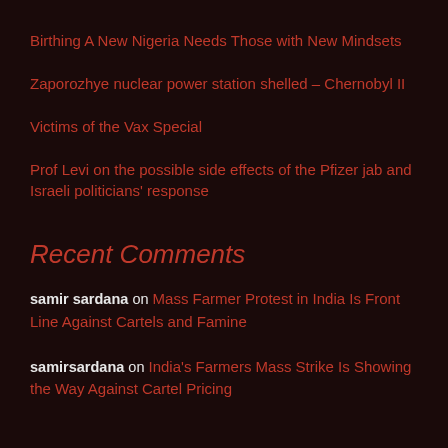Birthing A New Nigeria Needs Those with New Mindsets
Zaporozhye nuclear power station shelled – Chernobyl II
Victims of the Vax Special
Prof Levi on the possible side effects of the Pfizer jab and Israeli politicians' response
Recent Comments
samir sardana on Mass Farmer Protest in India Is Front Line Against Cartels and Famine
samirsardana on India's Farmers Mass Strike Is Showing the Way Against Cartel Pricing